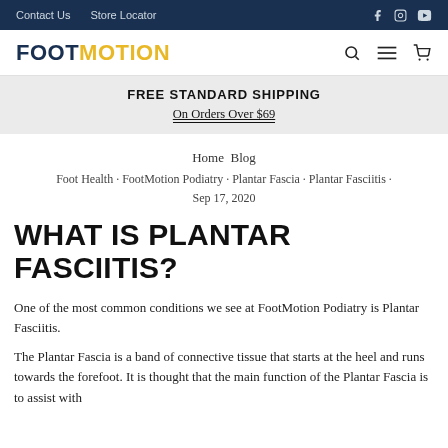Contact Us  Store Locator
FOOTMOTION
FREE STANDARD SHIPPING
On Orders Over $69
Home  Blog
Foot Health · FootMotion Podiatry · Plantar Fascia · Plantar Fasciitis · Sep 17, 2020
WHAT IS PLANTAR FASCIITIS?
One of the most common conditions we see at FootMotion Podiatry is Plantar Fasciitis.
The Plantar Fascia is a band of connective tissue that starts at the heel and runs towards the forefoot. It is thought that the main function of the Plantar Fascia is to assist with